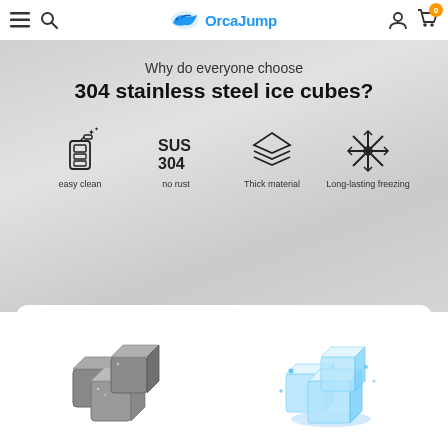OrcaJump navigation bar with menu, search, logo, user account, and cart icons
[Figure (infographic): Why do everyone choose 304 stainless steel ice cubes? Product banner with four features: easy clean, no rust, Thick material, Long-lasting freezing, each with corresponding icons (spray bottle, SUS 304 text, layers icon, snowflake icon). Below is a product card showing stainless steel ice cubes and regular ice cubes side by side.]